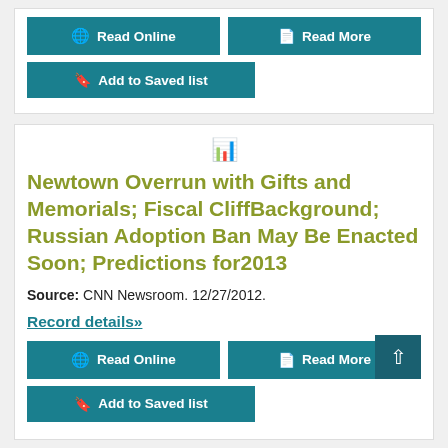[Figure (other): Read Online button (teal)]
[Figure (other): Read More button (teal)]
[Figure (other): Add to Saved list button (teal)]
[Figure (other): Document icon (file with chart)]
Newtown Overrun with Gifts and Memorials; Fiscal CliffBackground; Russian Adoption Ban May Be Enacted Soon; Predictions for2013
Source: CNN Newsroom. 12/27/2012.
Record details»
[Figure (other): Read Online button (teal)]
[Figure (other): Read More button (teal)]
[Figure (other): Add to Saved list button (teal)]
[Figure (other): Back to top arrow button (dark teal)]